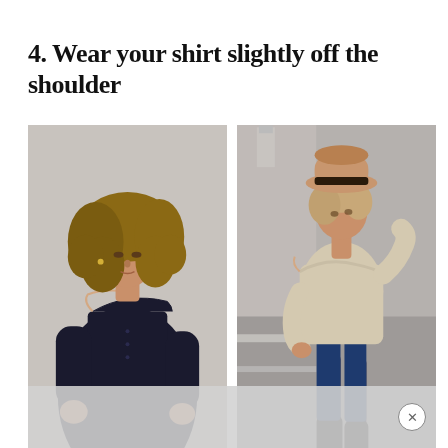4. Wear your shirt slightly off the shoulder
[Figure (photo): Two side-by-side fashion photos showing women wearing shirts slightly off the shoulder. Left photo: woman with curly hair wearing a dark navy/black oversized button-down shirt worn off one shoulder, against a light grey background. Right photo: woman wearing a beige/cream loose off-shoulder sweater with a tan fedora hat, blue jeans, and dark boots, standing outdoors in a parking lot area. At the bottom, a light grey advertisement bar with a close (X) button.]